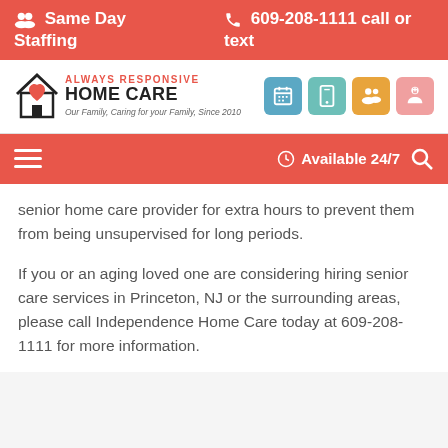Same Day Staffing | 609-208-1111 call or text
[Figure (logo): Always Responsive Home Care logo with house icon, heart, tagline 'Our Family, Caring for your Family, Since 2010', and four icon buttons]
Available 24/7
senior home care provider for extra hours to prevent them from being unsupervised for long periods.
If you or an aging loved one are considering hiring senior care services in Princeton, NJ or the surrounding areas, please call Independence Home Care today at 609-208-1111 for more information.